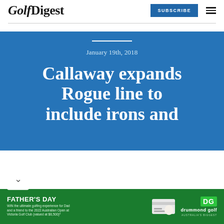Golf Digest
[Figure (logo): Golf Digest logo with italic Golf and bold Digest text]
SUBSCRIBE
January 19th, 2018
Callaway expands Rogue line to include irons and
[Figure (infographic): Father's Day advertisement for Drummond Golf - Win the ultimate golfing experience for Dad and a friend to the 2022 Australian Open at Victoria Golf Club (valued at $8,500)*]